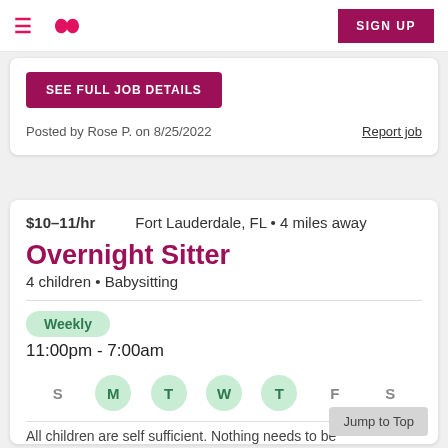≡ [logo] SIGN UP
SEE FULL JOB DETAILS
Posted by Rose P. on 8/25/2022   Report job
$10–11/hr   Fort Lauderdale, FL • 4 miles away
Overnight Sitter
4 children • Babysitting
Weekly
11:00pm - 7:00am
S  M  T  W  T  F  S
All children are self sufficient. Nothing needs to be